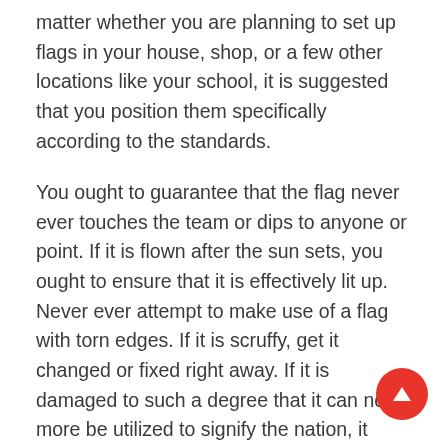matter whether you are planning to set up flags in your house, shop, or a few other locations like your school, it is suggested that you position them specifically according to the standards.
You ought to guarantee that the flag never ever touches the team or dips to anyone or point. If it is flown after the sun sets, you ought to ensure that it is effectively lit up. Never ever attempt to make use of a flag with torn edges. If it is scruffy, get it changed or fixed right away. If it is damaged to such a degree that it can no more be utilized to signify the nation, it should be dignifiedly destroyed, as well as one of the most favored methods to do this is by shedding.
The American flag needs to never be worn at all or used as bed linens, or drape. It ought to not be used for the function of advertising and marketing for any